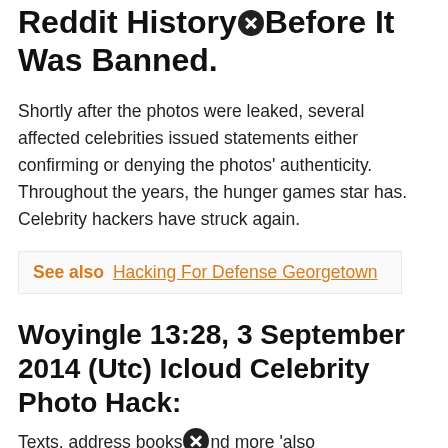Reddit History Before It Was Banned.
Shortly after the photos were leaked, several affected celebrities issued statements either confirming or denying the photos' authenticity. Throughout the years, the hunger games star has. Celebrity hackers have struck again.
See also  Hacking For Defense Georgetown
Woyingle 13:28, 3 September 2014 (Utc) Icloud Celebrity Photo Hack:
Texts, address books and more 'also